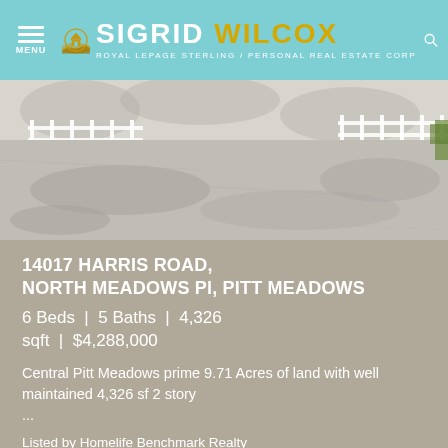MENU | SIGRID WILCOX | ROYAL LEPAGE STERLING / PERSONAL REAL ESTATE CORP
[Figure (photo): Aerial/ground-level view of a gravel driveway with tree shadows, white picket fence visible in background, some greenery]
14017 HARRIS ROAD, NORTH MEADOWS Pl, PITT MEADOWS
6 Beds  |  5 Baths  |  4,326 sqft  |  $4,288,000
Central Pitt Meadows prime 9.71 Acres of land with well maintained 4,326 sf 2 story ...
Listed by Homelife Benchmark Realty (Langley) Corp..